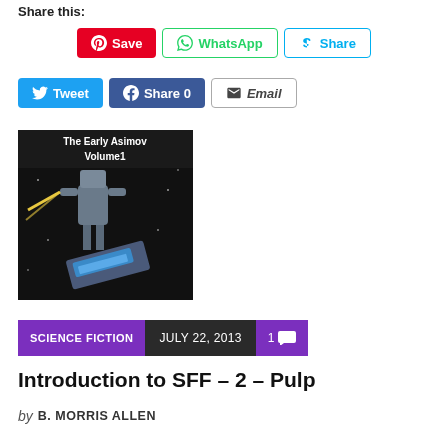Share this:
Save | WhatsApp | Share | Tweet | Share 0 | Email
[Figure (photo): Book cover of The Early Asimov Volume 1, showing a science fiction scene with robotic or mechanical figures in space]
SCIENCE FICTION   JULY 22, 2013   1 comment
Introduction to SFF – 2 – Pulp
by B. MORRIS ALLEN